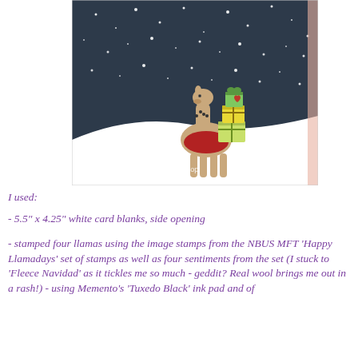[Figure (photo): A handmade Christmas card featuring an illustrated llama carrying green gift boxes on its back, standing on a snowy white hill against a dark starry night sky background. Watermark text reads 'Diane Wray - Pixies Crafty Workshop']
I used:
- 5.5" x 4.25" white card blanks, side opening
- stamped four llamas using the image stamps from the NBUS MFT 'Happy Llamadays' set of stamps as well as four sentiments from the set (I stuck to 'Fleece Navidad' as it tickles me so much - geddit? Real wool brings me out in a rash!) - using Memento's 'Tuxedo Black' ink pad and of